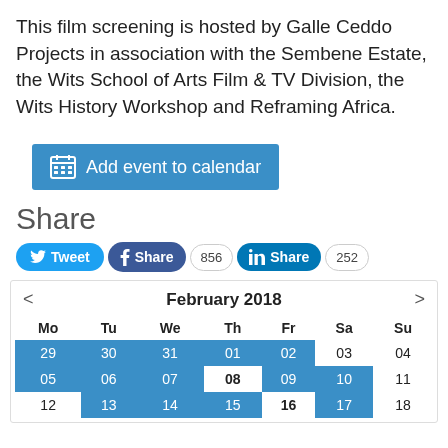This film screening is hosted by Galle Ceddo Projects in association with the Sembene Estate, the Wits School of Arts Film & TV Division, the Wits History Workshop and Reframing Africa.
[Figure (other): Blue button: Add event to calendar with calendar grid icon]
Share
[Figure (other): Social sharing buttons: Tweet (Twitter), Share (Facebook, count 856), Share (LinkedIn, count 252)]
| Mo | Tu | We | Th | Fr | Sa | Su |
| --- | --- | --- | --- | --- | --- | --- |
| 29 | 30 | 31 | 01 | 02 | 03 | 04 |
| 05 | 06 | 07 | 08 | 09 | 10 | 11 |
| 12 | 13 | 14 | 15 | 16 | 17 | 18 |